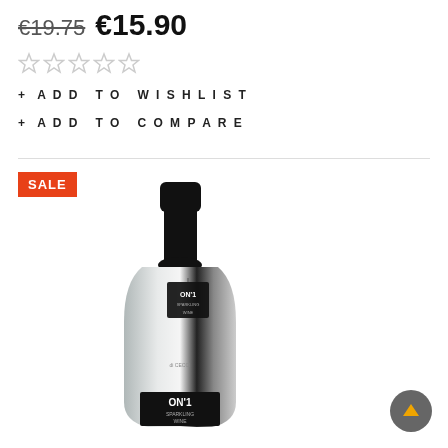€19.75  €15.90
[Figure (other): Five empty star rating icons]
+ ADD TO WISHLIST
+ ADD TO COMPARE
[Figure (photo): Product photo of ON'1 sparkling wine bottle with silver/mirror finish, black cap and label, with SALE badge in top left corner]
[Figure (other): Scroll to top button with upward arrow]